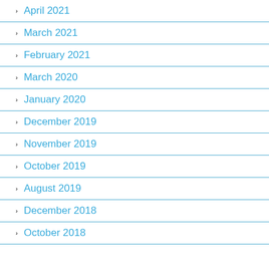April 2021
March 2021
February 2021
March 2020
January 2020
December 2019
November 2019
October 2019
August 2019
December 2018
October 2018